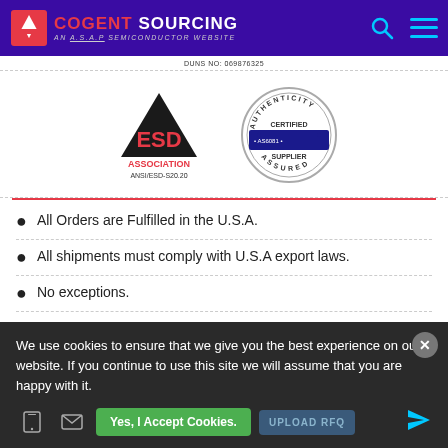COGENT SOURCING — AN A.S.A.P SEMICONDUCTOR WEBSITE
[Figure (logo): ESD Association ANSI/ESD-S20.20 logo and AS6081 Certified Supplier Assured badge]
All Orders are Fulfilled in the U.S.A.
All shipments must comply with U.S.A export laws.
No exceptions.
We use cookies to ensure that we give you the best experience on our website. If you continue to use this site we will assume that you are happy with it.